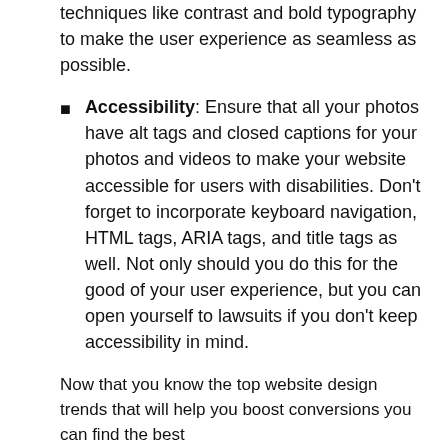techniques like contrast and bold typography to make the user experience as seamless as possible.
Accessibility: Ensure that all your photos have alt tags and closed captions for your photos and videos to make your website accessible for users with disabilities. Don't forget to incorporate keyboard navigation, HTML tags, ARIA tags, and title tags as well. Not only should you do this for the good of your user experience, but you can open yourself to lawsuits if you don't keep accessibility in mind.
Now that you know the top website design trends that will help you boost conversions you can find the best